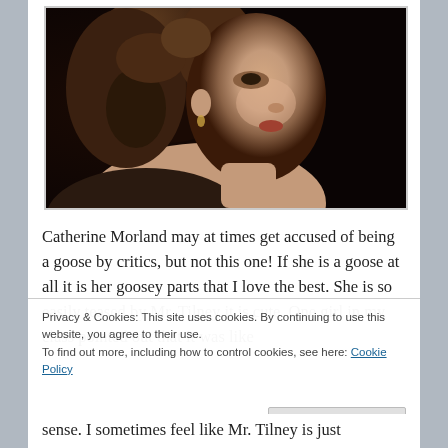[Figure (photo): A young woman in period costume photographed in profile/three-quarter view, with curly dark hair, wearing what appears to be a Regency-era dress. The image appears to be a film still, with dark background.]
Catherine Morland may at times get accused of being a goose by critics, but not this one! If she is a goose at all it is her goosey parts that I love the best. She is so easily teased by Mr. Tilney it is cute. One girl in my class pointed out that it was like
Privacy & Cookies: This site uses cookies. By continuing to use this website, you agree to their use.
To find out more, including how to control cookies, see here: Cookie Policy
Close and accept
sense. I sometimes feel like Mr. Tilney is just